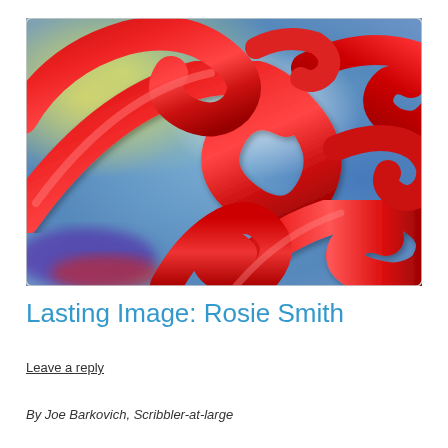[Figure (photo): Close-up photograph of curled red satin ribbons against a blurred blue and green background]
Lasting Image: Rosie Smith
Leave a reply
By Joe Barkovich, Scribbler-at-large